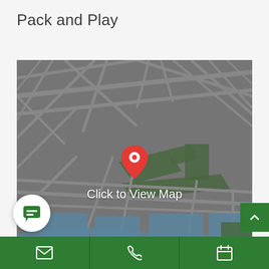Pack and Play
[Figure (map): Google Maps style map showing a city area with roads, green park areas, and blue water/canal features. A red location pin is centered on the map with the text 'Click to View Map' displayed below the pin.]
[Figure (other): Bottom navigation bar with green background containing email icon, phone icon, and calendar icon sections. Also a chat bubble button (white circle) and a scroll-to-top button (green square with up arrow).]